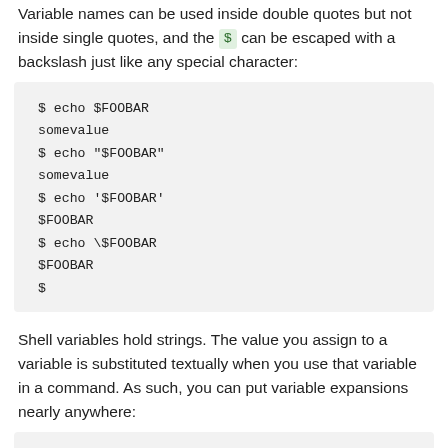Variable names can be used inside double quotes but not inside single quotes, and the $ can be escaped with a backslash just like any special character:
$ echo $FOOBAR
somevalue
$ echo "$FOOBAR"
somevalue
$ echo '$FOOBAR'
$FOOBAR
$ echo \$FOOBAR
$FOOBAR
$
Shell variables hold strings. The value you assign to a variable is substituted textually when you use that variable in a command. As such, you can put variable expansions nearly anywhere: